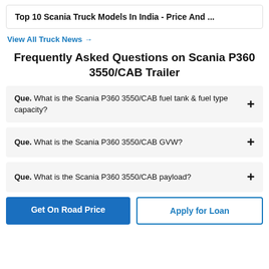Top 10 Scania Truck Models In India - Price And ...
View All Truck News →
Frequently Asked Questions on Scania P360 3550/CAB Trailer
Que. What is the Scania P360 3550/CAB fuel tank & fuel type capacity?
Que. What is the Scania P360 3550/CAB GVW?
Que. What is the Scania P360 3550/CAB payload?
Get On Road Price
Apply for Loan